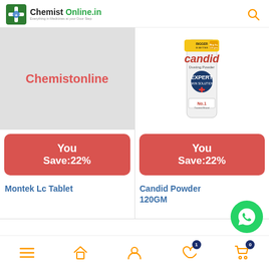[Figure (logo): Chemist Online.in logo with green cross icon and tagline 'Everything in Medicines at your Door Step']
[Figure (photo): Product card for Montek Lc Tablet showing Chemistonline placeholder image in gray background, with red 'You Save:22%' badge]
[Figure (photo): Product card for Candid Powder 120GM showing Candid Dusting Powder bottle image, with red 'You Save:22%' badge]
[Figure (infographic): Bottom navigation bar with hamburger menu, home, account, wishlist (badge:1), and cart (badge:0) icons in orange]